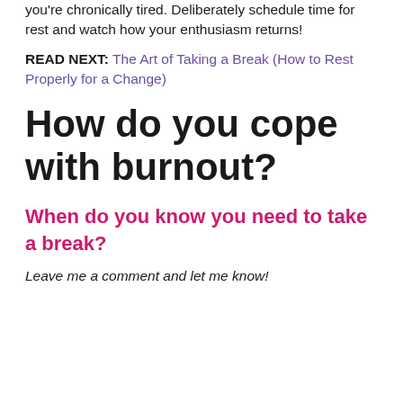you're chronically tired. Deliberately schedule time for rest and watch how your enthusiasm returns!
READ NEXT: The Art of Taking a Break (How to Rest Properly for a Change)
How do you cope with burnout?
When do you know you need to take a break?
Leave me a comment and let me know!